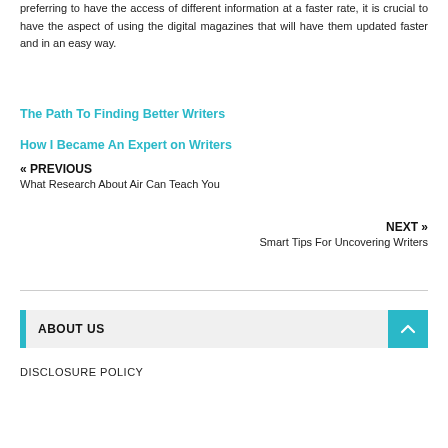preferring to have the access of different information at a faster rate, it is crucial to have the aspect of using the digital magazines that will have them updated faster and in an easy way.
The Path To Finding Better Writers
How I Became An Expert on Writers
« PREVIOUS
What Research About Air Can Teach You
NEXT »
Smart Tips For Uncovering Writers
ABOUT US
DISCLOSURE POLICY